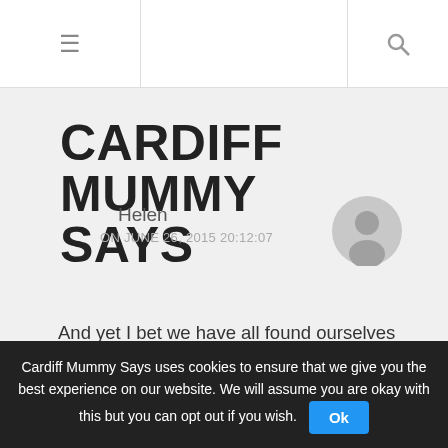☰  [search icon]
CARDIFF MUMMY SAYS
Helen
ON JUNE 26, 2015 20:12:07
And yet I bet we have all found ourselves sitting there still avidly watching the soap opera antics of Peppa Pig and her friends all on our own once the kids are in bed/at school or playing in the garden!
P.s it spooked me out when her voice changed between series, the first Peppa
Cardiff Mummy Says uses cookies to ensure that we give you the best experience on our website. We will assume you are okay with this but you can opt out if you wish.  Ok